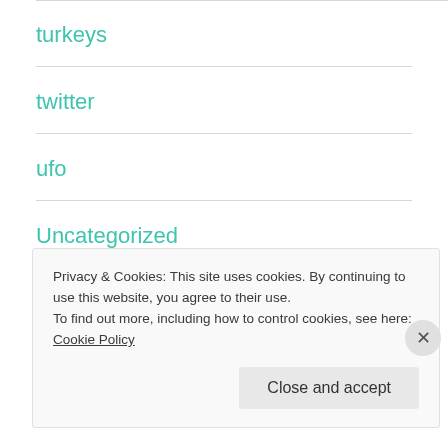turkeys
twitter
ufo
Uncategorized
vagus nerve stimulator
Privacy & Cookies: This site uses cookies. By continuing to use this website, you agree to their use.
To find out more, including how to control cookies, see here: Cookie Policy
Close and accept